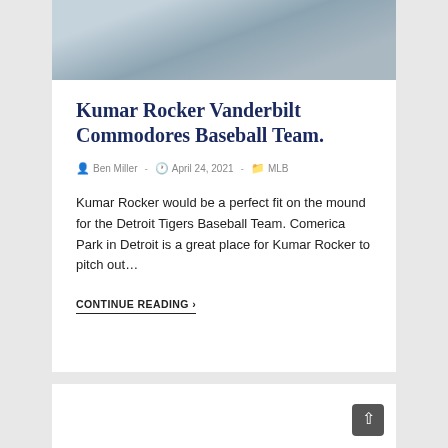[Figure (photo): Partial photo of a baseball player in pinstripe uniform, cropped to show upper body, at the top of the article card]
Kumar Rocker Vanderbilt Commodores Baseball Team.
Ben Miller  -  April 24, 2021  -  MLB
Kumar Rocker would be a perfect fit on the mound for the Detroit Tigers Baseball Team. Comerica Park in Detroit is a great place for Kumar Rocker to pitch out…
CONTINUE READING ›